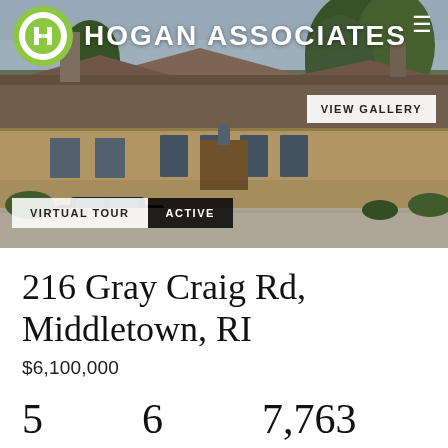[Figure (photo): Exterior photograph of a large Tudor-style estate home with brown shingle roof, stone/brick facade, multiple French doors, mature trees, and gravel driveway. A dark luxury car is parked on the left side.]
216 Gray Craig Rd, Middletown, RI
$6,100,000
5   6   7,763